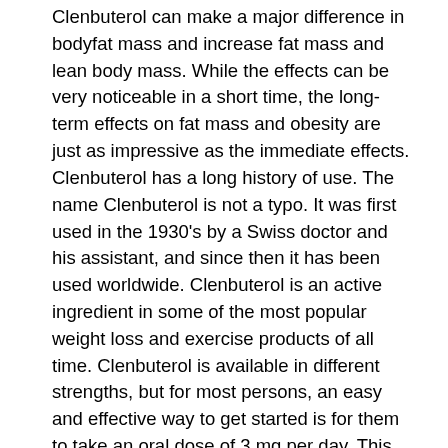Clenbuterol can make a major difference in bodyfat mass and increase fat mass and lean body mass. While the effects can be very noticeable in a short time, the long-term effects on fat mass and obesity are just as impressive as the immediate effects. Clenbuterol has a long history of use. The name Clenbuterol is not a typo. It was first used in the 1930's by a Swiss doctor and his assistant, and since then it has been used worldwide. Clenbuterol is an active ingredient in some of the most popular weight loss and exercise products of all time. Clenbuterol is available in different strengths, but for most persons, an easy and effective way to get started is for them to take an oral dose of 3 mg per day. This method is known as a daily dose. Over time and with proper maintenance on this regimen, one can increase the doses to 5 mg per day. Most people who exercise regularly and have a healthy weight will need to take 4 - 5 mg a